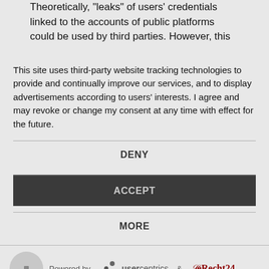Theoretically, "leaks" of users' credentials linked to the accounts of public platforms could be used by third parties. However, this
This site uses third-party website tracking technologies to provide and continually improve our services, and to display advertisements according to users' interests. I agree and may revoke or change my consent at any time with effect for the future.
DENY
ACCEPT
MORE
Powered by usercentrics & eRecht24